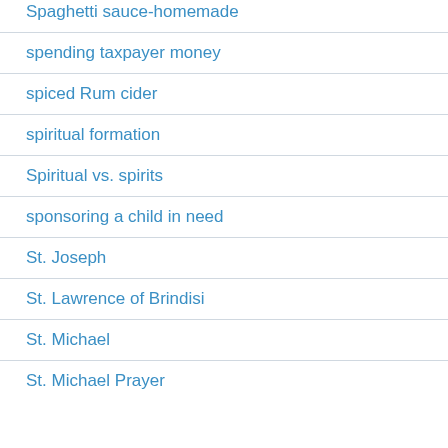Spaghetti sauce-homemade
spending taxpayer money
spiced Rum cider
spiritual formation
Spiritual vs. spirits
sponsoring a child in need
St. Joseph
St. Lawrence of Brindisi
St. Michael
St. Michael Prayer